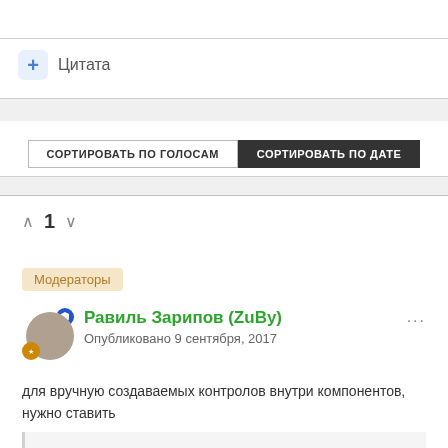+ Цитата
СОРТИРОВАТЬ ПО ГОЛОСАМ | СОРТИРОВАТЬ ПО ДАТЕ
∧ 1 ∨
Модераторы
Равиль Зарипов (ZuBy)
Опубликовано 9 сентября, 2017
для вручную создаваемых контролов внутри компонентов, нужно ставить